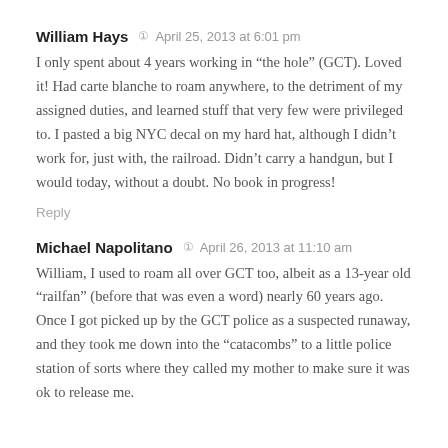William Hays  April 25, 2013 at 6:01 pm
I only spent about 4 years working in “the hole” (GCT). Loved it! Had carte blanche to roam anywhere, to the detriment of my assigned duties, and learned stuff that very few were privileged to. I pasted a big NYC decal on my hard hat, although I didn’t work for, just with, the railroad. Didn’t carry a handgun, but I would today, without a doubt. No book in progress!
Reply
Michael Napolitano  April 26, 2013 at 11:10 am
William, I used to roam all over GCT too, albeit as a 13-year old “railfan” (before that was even a word) nearly 60 years ago. Once I got picked up by the GCT police as a suspected runaway, and they took me down into the “catacombs” to a little police station of sorts where they called my mother to make sure it was ok to release me.